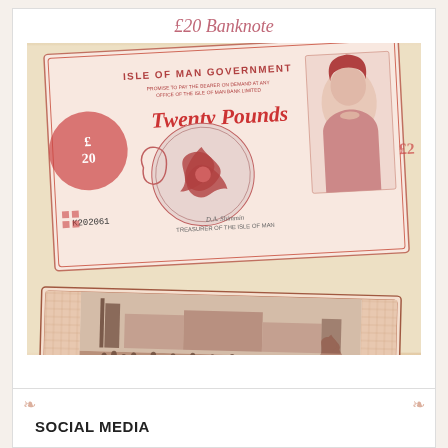£20 Banknote
[Figure (photo): Isle of Man Government £20 banknote shown from both front and back. Front shows Queen Elizabeth II portrait, Isle of Man triskelion symbol, serial number K202061, text 'Twenty Pounds' in red. Back shows a historical scene with crowd of people near industrial machinery. Serial number K202061 visible on front.]
SOCIAL MEDIA